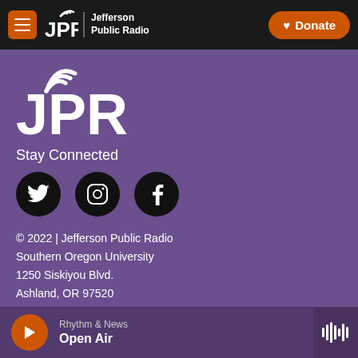JPR Jefferson Public Radio | Donate
[Figure (logo): JPR Jefferson Public Radio logo with wifi/signal icon in white on purple background]
Stay Connected
[Figure (infographic): Three social media icons: Twitter (bird), Instagram (camera), Facebook (f) — white icons on black circles]
© 2022 | Jefferson Public Radio
Southern Oregon University
1250 Siskiyou Blvd.
Ashland, OR 97520
541.552.6301 | 800.782.6191
Contact Us
Terms of Use
Rhythm & News Open Air